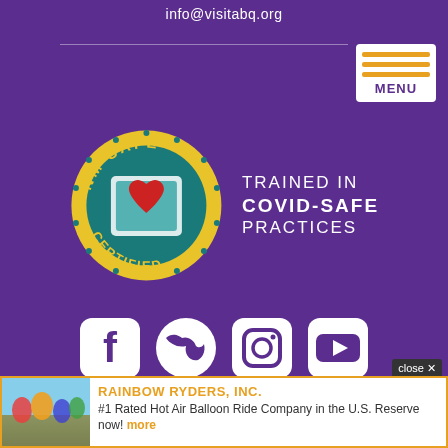info@visitabq.org
[Figure (logo): NM Safe Certified badge with heart icon and text 'TRAINED IN COVID-SAFE PRACTICES']
[Figure (infographic): Social media icons row: Facebook, Twitter, Instagram, YouTube]
ABOUT  |  BUSINESS LISTINGS
CONTACT  |  PRIVACY POLICY
SITEMAP  |  EN ESPAÑOL  |
[Figure (infographic): Advertisement banner for Rainbow Ryders, Inc. - #1 Rated Hot Air Balloon Ride Company in the U.S. Reserve now! more]